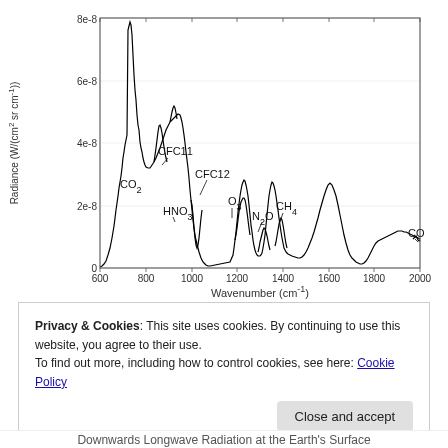[Figure (continuous-plot): Infrared emission spectrum showing radiance vs wavenumber (600-2000 cm⁻¹) with labeled gas absorption features: CO2, CFC11, CFC12, HNO3, O3, N2O, CH4, CO. Large peak near 600-700 cm⁻¹ region, with smaller features across the spectrum.]
Privacy & Cookies: This site uses cookies. By continuing to use this website, you agree to their use.
To find out more, including how to control cookies, see here: Cookie Policy
Close and accept
Downwards Longwave Radiation at the Earth's Surface